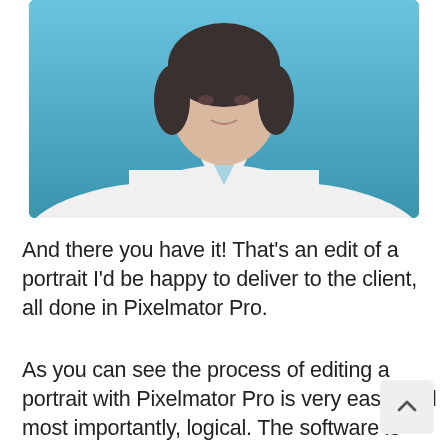[Figure (photo): Portrait photo of a woman with short dark hair wearing a white button-up shirt, photographed against a blue background, arms extended to sides.]
And there you have it! That's an edit of a portrait I'd be happy to deliver to the client, all done in Pixelmator Pro.
As you can see the process of editing a portrait with Pixelmator Pro is very easy, and most importantly, logical. The software is laid out very intuitively for photographers, with all our most commonly used adjustments just a